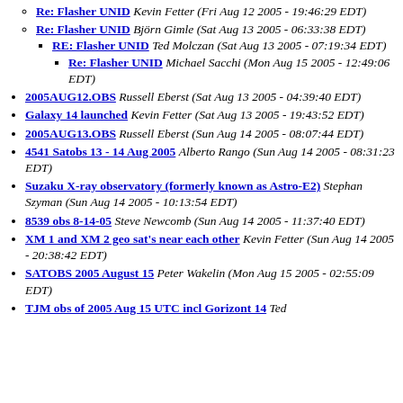Re: Flasher UNID Kevin Fetter (Fri Aug 12 2005 - 19:46:29 EDT)
Re: Flasher UNID Björn Gimle (Sat Aug 13 2005 - 06:33:38 EDT)
RE: Flasher UNID Ted Molczan (Sat Aug 13 2005 - 07:19:34 EDT)
Re: Flasher UNID Michael Sacchi (Mon Aug 15 2005 - 12:49:06 EDT)
2005AUG12.OBS Russell Eberst (Sat Aug 13 2005 - 04:39:40 EDT)
Galaxy 14 launched Kevin Fetter (Sat Aug 13 2005 - 19:43:52 EDT)
2005AUG13.OBS Russell Eberst (Sun Aug 14 2005 - 08:07:44 EDT)
4541 Satobs 13 - 14 Aug 2005 Alberto Rango (Sun Aug 14 2005 - 08:31:23 EDT)
Suzaku X-ray observatory (formerly known as Astro-E2) Stephan Szyman (Sun Aug 14 2005 - 10:13:54 EDT)
8539 obs 8-14-05 Steve Newcomb (Sun Aug 14 2005 - 11:37:40 EDT)
XM 1 and XM 2 geo sat's near each other Kevin Fetter (Sun Aug 14 2005 - 20:38:42 EDT)
SATOBS 2005 August 15 Peter Wakelin (Mon Aug 15 2005 - 02:55:09 EDT)
TJM obs of 2005 Aug 15 UTC incl Gorizont 14 Ted